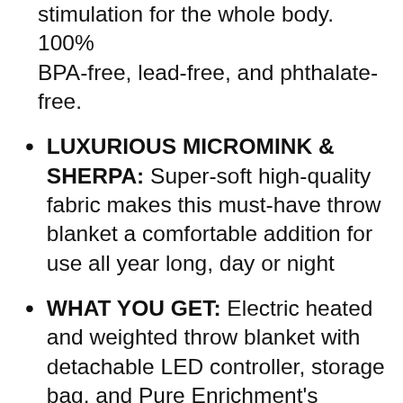stimulation for the whole body. 100% BPA-free, lead-free, and phthalate-free.
LUXURIOUS MICROMINK & SHERPA: Super-soft high-quality fabric makes this must-have throw blanket a comfortable addition for use all year long, day or night
WHAT YOU GET: Electric heated and weighted throw blanket with detachable LED controller, storage bag, and Pure Enrichment's guaranteed 5-Year Warranty. Our customer support team provides daily quality service and peace of mind to millions worldwide all from a brand you can trust.